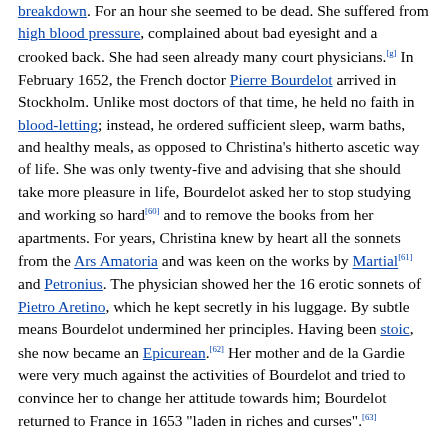breakdown. For an hour she seemed to be dead. She suffered from high blood pressure, complained about bad eyesight and a crooked back. She had seen already many court physicians.[g] In February 1652, the French doctor Pierre Bourdelot arrived in Stockholm. Unlike most doctors of that time, he held no faith in blood-letting; instead, he ordered sufficient sleep, warm baths, and healthy meals, as opposed to Christina's hitherto ascetic way of life. She was only twenty-five and advising that she should take more pleasure in life, Bourdelot asked her to stop studying and working so hard[60] and to remove the books from her apartments. For years, Christina knew by heart all the sonnets from the Ars Amatoria and was keen on the works by Martial[61] and Petronius. The physician showed her the 16 erotic sonnets of Pietro Aretino, which he kept secretly in his luggage. By subtle means Bourdelot undermined her principles. Having been stoic, she now became an Epicurean.[62] Her mother and de la Gardie were very much against the activities of Bourdelot and tried to convince her to change her attitude towards him; Bourdelot returned to France in 1653 "laden in riches and curses".[63]
The Queen had long conversations about Copernicus, Tycho Brahe, Francis Bacon, and Kepler with Antonio Macedo, secretary, and interpreter for Portugal's ambassador.[64] Macedo was a Jesuit, and in August 1651, smuggled on his person a letter from Christina